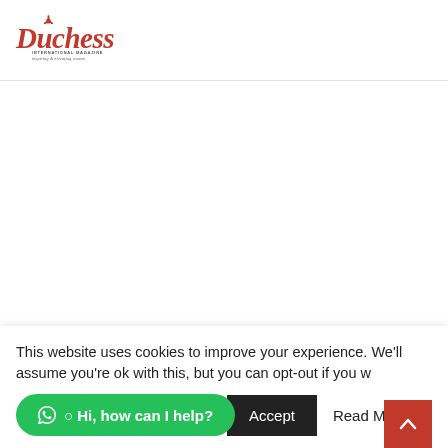[Figure (logo): Duchess International Magazine logo — red cursive 'Duchess' text with crown, subtitle 'INTERNATIONAL MAGAZINE' and tagline 'inspiring & elevating women']
This website uses cookies to improve your experience. We'll assume you're ok with this, but you can opt-out if you wish.
Hi, how can I help?
Accept
Read More